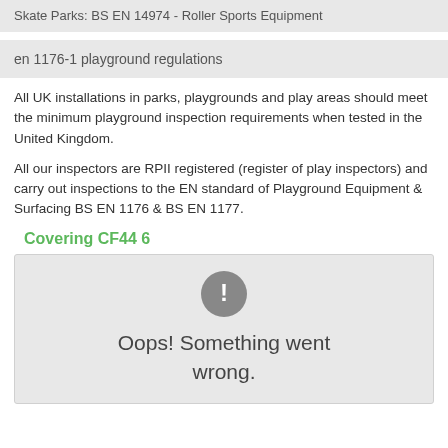Skate Parks: BS EN 14974 - Roller Sports Equipment
en 1176-1 playground regulations
All UK installations in parks, playgrounds and play areas should meet the minimum playground inspection requirements when tested in the United Kingdom.
All our inspectors are RPII registered (register of play inspectors) and carry out inspections to the EN standard of Playground Equipment & Surfacing BS EN 1176 & BS EN 1177.
Covering CF44 6
[Figure (other): Map placeholder showing error state: grey rounded rectangle with a grey circle containing an exclamation mark and text 'Oops! Something went wrong.']